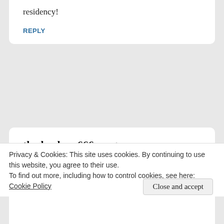residency!
REPLY
thedeadguy666   April 23, 2012 – 3:22 am
I know you have recieved a few of these, so I
Privacy & Cookies: This site uses cookies. By continuing to use this website, you agree to their use.
To find out more, including how to control cookies, see here: Cookie Policy
Close and accept